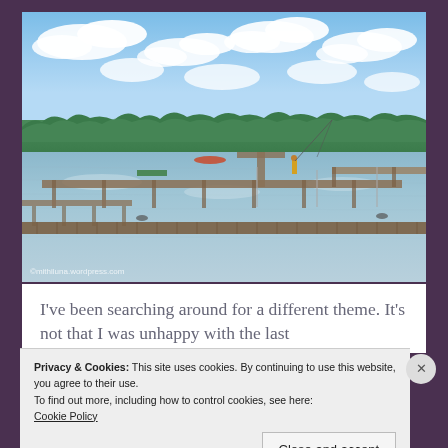[Figure (photo): Outdoor lake scene with wooden docks/piers extending over calm water, a person standing on a dock fishing, a red canoe in the background, green treeline along the horizon, blue sky with white clouds above. Watermark text reads: ©mithiluna.wordpress.com]
I've been searching around for a different theme. It's not that I was unhappy with the last
Privacy & Cookies: This site uses cookies. By continuing to use this website, you agree to their use.
To find out more, including how to control cookies, see here:
Cookie Policy
Close and accept